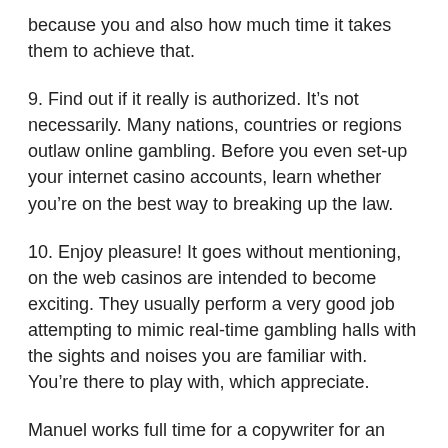because you and also how much time it takes them to achieve that.
9. Find out if it really is authorized. It’s not necessarily. Many nations, countries or regions outlaw online gambling. Before you even set-up your internet casino accounts, learn whether you’re on the best way to breaking up the law.
10. Enjoy pleasure! It goes without mentioning, on the web casinos are intended to become exciting. They usually perform a very good job attempting to mimic real-time gambling halls with the sights and noises you are familiar with. You’re there to play with, which appreciate.
Manuel works full time for a copywriter for an advertising service in West Covina, California. His understanding of online gaming comes mostly in the expertise. An avid